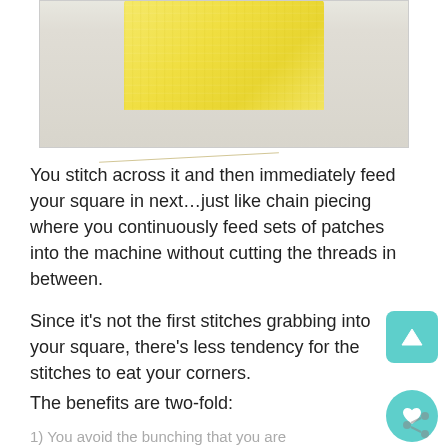[Figure (photo): Close-up photo of a yellow fabric piece on a light gray/white surface, showing stitching and loose threads at the bottom edge.]
You stitch across it and then immediately feed your square in next…just like chain piecing where you continuously feed sets of patches into the machine without cutting the threads in between.
Since it's not the first stitches grabbing into your square, there's less tendency for the stitches to eat your corners.
The benefits are two-fold:
1) You avoid the bunching that you are